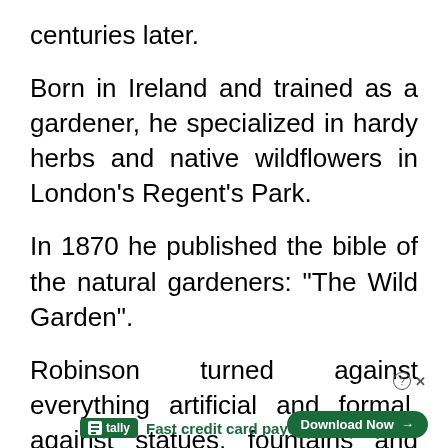centuries later.
Born in Ireland and trained as a gardener, he specialized in hardy herbs and native wildflowers in London's Regent's Park.
In 1870 he published the bible of the natural gardeners: "The Wild Garden".
Robinson turned against everything artificial and formal, against statues, fountains and Victorian carpet beds with their garish colors of greenhouse annual flowers.
The natural growth of the plants determined its free [ad overlay] mention should [cut off]